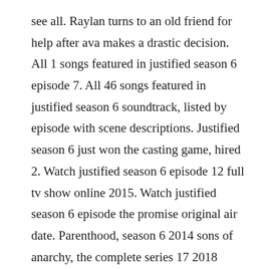see all. Raylan turns to an old friend for help after ava makes a drastic decision. All 1 songs featured in justified season 6 episode 7. All 46 songs featured in justified season 6 soundtrack, listed by episode with scene descriptions. Justified season 6 just won the casting game, hired 2. Watch justified season 6 episode 12 full tv show online 2015. Watch justified season 6 episode the promise original air date. Parenthood, season 6 2014 sons of anarchy, the complete series 17 2018 breaking bad, deluxe edition. Justified season 6 watch